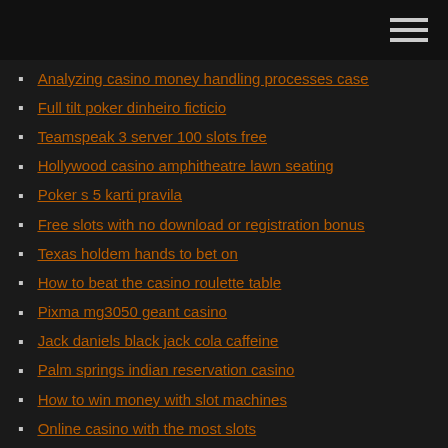Analyzing casino money handling processes case
Full tilt poker dinheiro ficticio
Teamspeak 3 server 100 slots free
Hollywood casino amphitheatre lawn seating
Poker s 5 karti pravila
Free slots with no download or registration bonus
Texas holdem hands to bet on
How to beat the casino roulette table
Pixma mg3050 geant casino
Jack daniels black jack cola caffeine
Palm springs indian reservation casino
How to win money with slot machines
Online casino with the most slots
Vegas palms casino bonus code